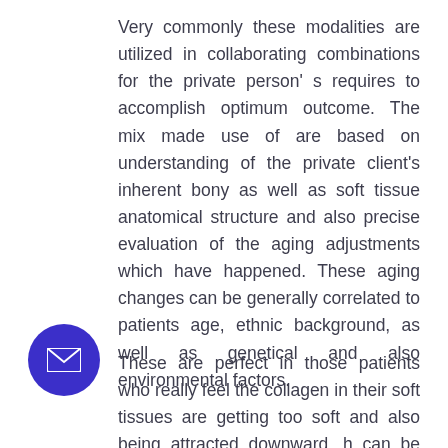Very commonly these modalities are utilized in collaborating combinations for the private person' s requires to accomplish optimum outcome. The mix made use of are based on understanding of the private client's inherent bony as well as soft tissue anatomical structure and also precise evaluation of the aging adjustments which have happened. These aging changes can be generally correlated to patients age, ethnic background, as well as genetical and also environmental factors.
These are perfect in those patients who really feel the collagen in their soft tissues are getting too soft and also being attracted downward, h can be really felt also in very early 30's for e people. These makers are favorites as stand-alone procedure in people that are in their